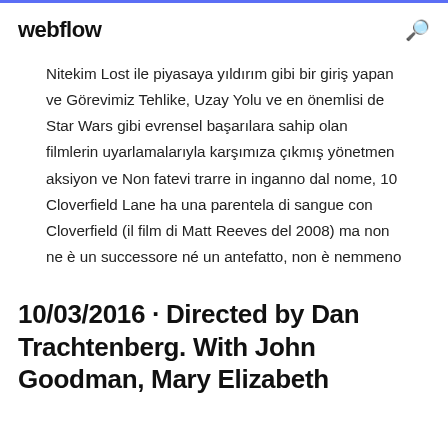webflow
Nitekim Lost ile piyasaya yıldırım gibi bir giriş yapan ve Görevimiz Tehlike, Uzay Yolu ve en önemlisi de Star Wars gibi evrensel başarılara sahip olan filmlerin uyarlamalarıyla karşımıza çıkmış yönetmen aksiyon ve Non fatevi trarre in inganno dal nome, 10 Cloverfield Lane ha una parentela di sangue con Cloverfield (il film di Matt Reeves del 2008) ma non ne è un successore né un antefatto, non è nemmeno
10/03/2016 · Directed by Dan Trachtenberg. With John Goodman, Mary Elizabeth